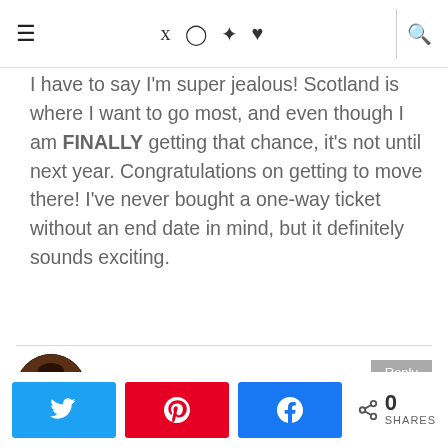Navigation bar with menu, social icons (Twitter, Instagram, Pinterest, heart), and search
I have to say I'm super jealous! Scotland is where I want to go most, and even though I am FINALLY getting that chance, it's not until next year. Congratulations on getting to move there! I've never bought a one-way ticket without an end date in mind, but it definitely sounds exciting.
ASHLEYWANDERS — Aug 17 at 6:36 pm
Share buttons: Twitter, Pinterest, Facebook. 0 SHARES